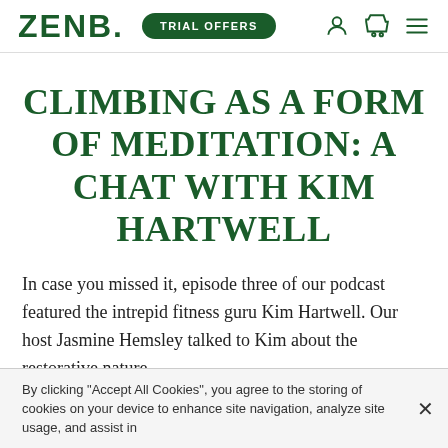ZENB. TRIAL OFFERS
CLIMBING AS A FORM OF MEDITATION: A CHAT WITH KIM HARTWELL
In case you missed it, episode three of our podcast featured the intrepid fitness guru Kim Hartwell. Our host Jasmine Hemsley talked to Kim about the restorative nature
By clicking "Accept All Cookies", you agree to the storing of cookies on your device to enhance site navigation, analyze site usage, and assist in